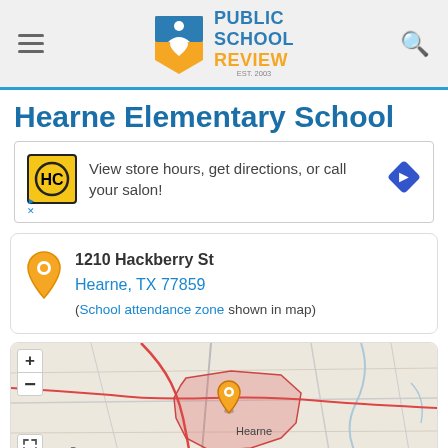Public School Review - EST. 2003
Hearne Elementary School
[Figure (other): Advertisement banner: HC hair salon logo, text 'View store hours, get directions, or call your salon!', blue diamond arrow icon]
1210 Hackberry St
Hearne, TX 77859
(School attendance zone shown in map)
[Figure (map): Street map showing Hearne, TX area with school attendance zone highlighted in pink/red, orange map pin marker, zoom controls (+/-), and fullscreen button. Cameron label visible bottom left.]